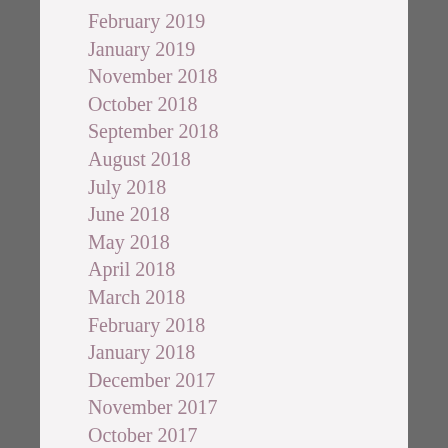February 2019
January 2019
November 2018
October 2018
September 2018
August 2018
July 2018
June 2018
May 2018
April 2018
March 2018
February 2018
January 2018
December 2017
November 2017
October 2017
September 2017
August 2017
July 2017